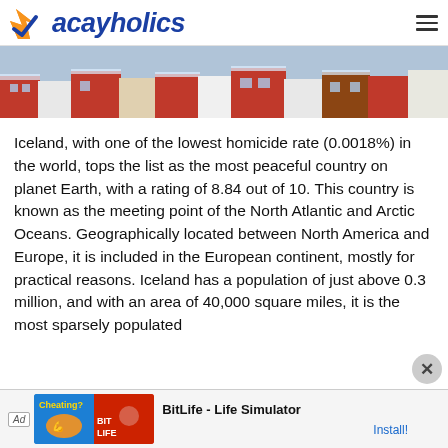vacayholics
[Figure (photo): Aerial view of a town with colorful rooftops, likely Reykjavik, Iceland, covered in snow]
Iceland, with one of the lowest homicide rate (0.0018%) in the world, tops the list as the most peaceful country on planet Earth, with a rating of 8.84 out of 10. This country is known as the meeting point of the North Atlantic and Arctic Oceans. Geographically located between North America and Europe, it is included in the European continent, mostly for practical reasons. Iceland has a population of just above 0.3 million, and with an area of 40,000 square miles, it is the most sparsely populated
[Figure (screenshot): Advertisement banner: BitLife - Life Simulator app ad with Install button]